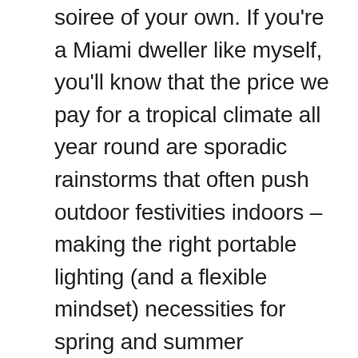soiree of your own. If you're a Miami dweller like myself, you'll know that the price we pay for a tropical climate all year round are sporadic rainstorms that often push outdoor festivities indoors – making the right portable lighting (and a flexible mindset) necessities for spring and summer entertaining. Whether you're forced to move your gathering inside on account of rain, or just want to party past sundown, you can count on these 10 design-driven portable lights to set the mood in style – outdoors and in. Find more portable lights in the Design Milk Shop.